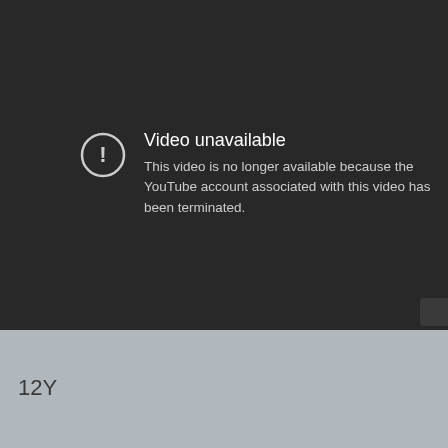[Figure (screenshot): YouTube video unavailable error screen on dark background. Shows a circle with exclamation mark icon, title 'Video unavailable', and message 'This video is no longer available because the YouTube account associated with this video has been terminated.']
12Y